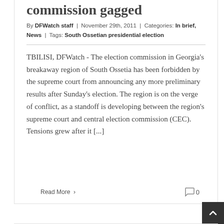commission gagged
By DFWatch staff | November 29th, 2011 | Categories: In brief, News | Tags: South Ossetian presidential election
TBILISI, DFWatch - The election commission in Georgia's breakaway region of South Ossetia has been forbidden by the supreme court from announcing any more preliminary results after Sunday's election. The region is on the verge of conflict, as a standoff is developing between the region's supreme court and central election commission (CEC). Tensions grew after it [...]
Read More